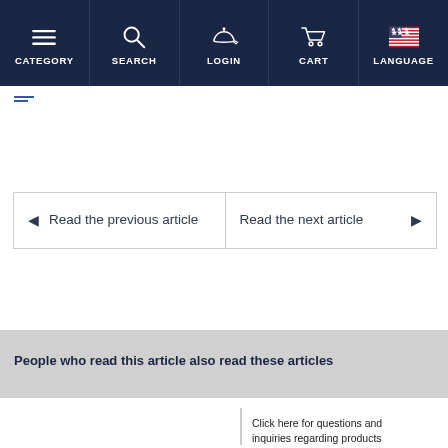CATEGORY | SEARCH | LOGIN | CART | LANGUAGE
-- (breadcrumb lines)
Read the previous article
Read the next article
People who read this article also read these articles
Click here for questions and inquiries regarding products